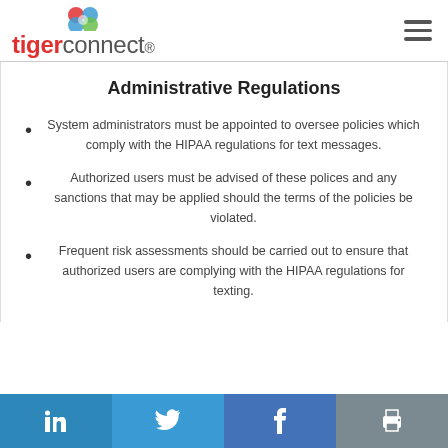tigerconnect
Administrative Regulations
System administrators must be appointed to oversee policies which comply with the HIPAA regulations for text messages.
Authorized users must be advised of these polices and any sanctions that may be applied should the terms of the policies be violated.
Frequent risk assessments should be carried out to ensure that authorized users are complying with the HIPAA regulations for texting.
LinkedIn | Twitter | Facebook | Print